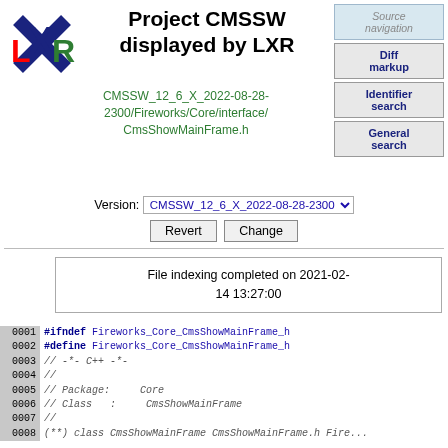[Figure (logo): LXR logo with red L, blue X, green R letters and crossed lines]
Project CMSSW displayed by LXR
CMSSW_12_6_X_2022-08-28-2300/Fireworks/Core/interface/CmsShowMainFrame.h
Source navigation
Diff markup
Identifier search
General search
Version: CMSSW_12_6_X_2022-08-28-2300
Revert  Change
File indexing completed on 2021-02-14 13:27:00
0001 #ifndef Fireworks_Core_CmsShowMainFrame_h
0002 #define Fireworks_Core_CmsShowMainFrame_h
0003 // -*- C++ -*-
0004 //
0005 // Package:     Core
0006 // Class  :     CmsShowMainFrame
0007 //
0008 (**) class CmsShowMainFrame CmsShowMainFrame.h Fire...